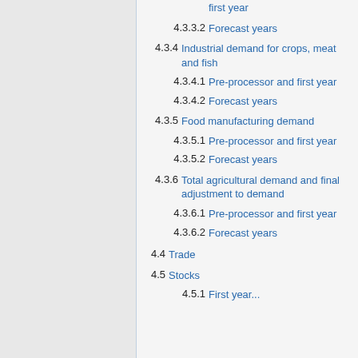4.3.3.2  Forecast years
4.3.4  Industrial demand for crops, meat and fish
4.3.4.1  Pre-processor and first year
4.3.4.2  Forecast years
4.3.5  Food manufacturing demand
4.3.5.1  Pre-processor and first year
4.3.5.2  Forecast years
4.3.6  Total agricultural demand and final adjustment to demand
4.3.6.1  Pre-processor and first year
4.3.6.2  Forecast years
4.4  Trade
4.5  Stocks
4.5.1  First year...